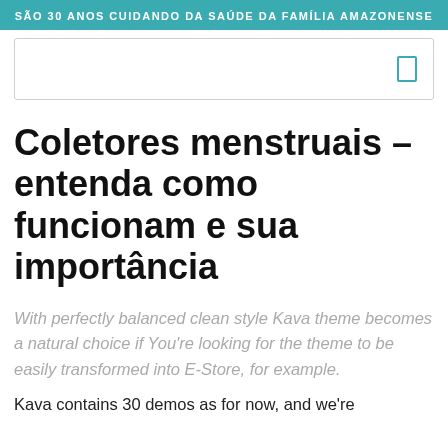SÃO 30 ANOS CUIDANDO DA SAÚDE DA FAMÍLIA AMAZONENSE
Coletores menstruais – entenda como funcionam e sua importância
With perfectly balanced clean style Kava theme becomes a natural choice if You're looking for the theme to be easily transformed into E-Store, for example.
Kava contains 30 demos as for now, and we're